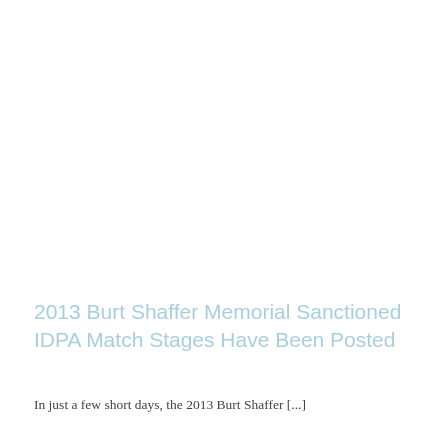2013 Burt Shaffer Memorial Sanctioned IDPA Match Stages Have Been Posted
In just a few short days, the 2013 Burt Shaffer [...]